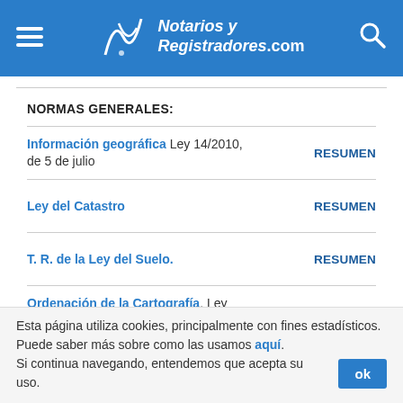Notarios y Registradores.com
NORMAS GENERALES:
Información geográfica  Ley 14/2010, de 5 de julio  RESUMEN
Ley del Catastro  RESUMEN
T. R. de la Ley del Suelo.  RESUMEN
Ordenación de la Cartografía. Ley 7/1986, de 24 de enero.
Reforma de la Ley Hipotecaria y del  RESUMEN
Esta página utiliza cookies, principalmente con fines estadísticos. Puede saber más sobre como las usamos aquí. Si continua navegando, entendemos que acepta su uso.  ok